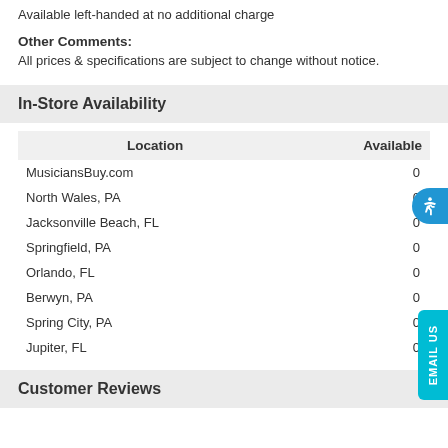Available left-handed at no additional charge
Other Comments:
All prices & specifications are subject to change without notice.
In-Store Availability
| Location | Available |
| --- | --- |
| MusiciansBuy.com | 0 |
| North Wales, PA | 0 |
| Jacksonville Beach, FL | 0 |
| Springfield, PA | 0 |
| Orlando, FL | 0 |
| Berwyn, PA | 0 |
| Spring City, PA | 0 |
| Jupiter, FL | 0 |
Customer Reviews